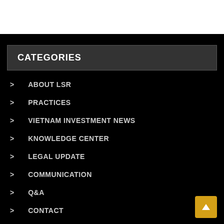CATEGORIES
ABOUT LSR
PRACTICES
VIETNAM INVESTMENT NEWS
KNOWLEDGE CENTER
LEGAL UPDATE
COMMUNICATION
Q&A
CONTACT